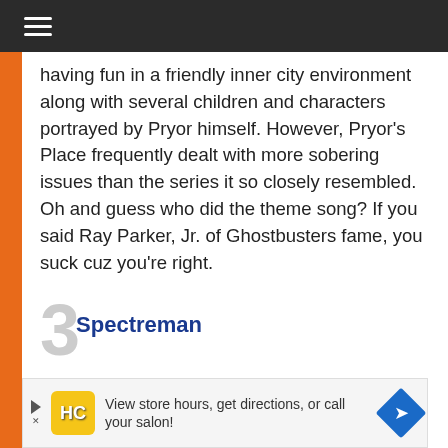≡
having fun in a friendly inner city environment along with several children and characters portrayed by Pryor himself. However, Pryor's Place frequently dealt with more sobering issues than the series it so closely resembled. Oh and guess who did the theme song? If you said Ray Parker, Jr. of Ghostbusters fame, you suck cuz you're right.
3 Spectreman
[Figure (other): Advertisement banner: HC logo on yellow background, text 'View store hours, get directions, or call your salon!' with blue navigation arrow icon]